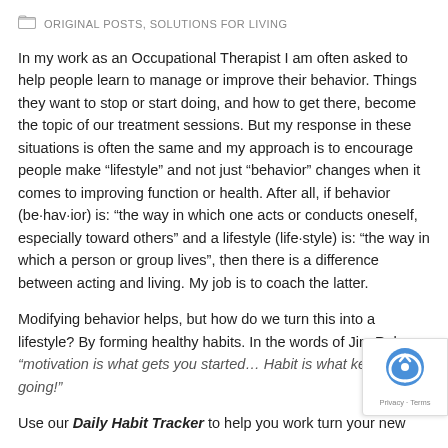ORIGINAL POSTS, SOLUTIONS FOR LIVING
In my work as an Occupational Therapist I am often asked to help people learn to manage or improve their behavior. Things they want to stop or start doing, and how to get there, become the topic of our treatment sessions. But my response in these situations is often the same and my approach is to encourage people make “lifestyle” and not just “behavior” changes when it comes to improving function or health. After all, if behavior (be·hav·ior) is: “the way in which one acts or conducts oneself, especially toward others” and a lifestyle (life·style) is: “the way in which a person or group lives”, then there is a difference between acting and living. My job is to coach the latter.
Modifying behavior helps, but how do we turn this into a lifestyle? By forming healthy habits. In the words of Jim Rohn: “motivation is what gets you started… Habit is what keeps you going!”
Use our Daily Habit Tracker to help you work turn your new